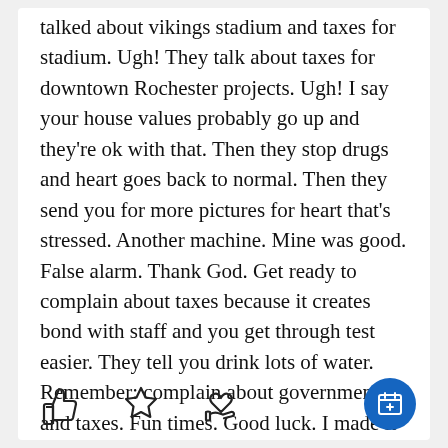talked about vikings stadium and taxes for stadium. Ugh! They talk about taxes for downtown Rochester projects. Ugh! I say your house values probably go up and they're ok with that. Then they stop drugs and heart goes back to normal. Then they send you for more pictures for heart that's stressed. Another machine. Mine was good. False alarm. Thank God. Get ready to complain about taxes because it creates bond with staff and you get through test easier. They tell you drink lots of water. Remember: complain about government and taxes. Fun times. Good luck. I made it through.
[Figure (other): Row of three icons: thumbs up, star, heart with hand (care/support). Blue floating action button with calendar icon at bottom right.]